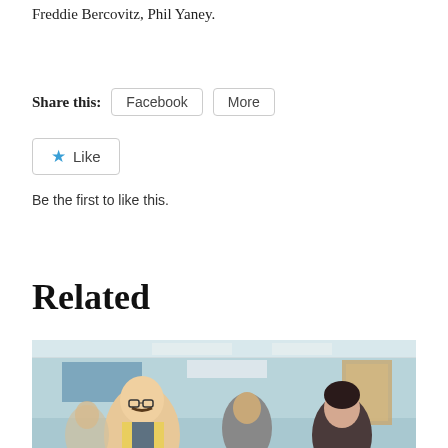Freddie Bercovitz, Phil Yaney.
Share this:
Facebook
More
Like
Be the first to like this.
Related
[Figure (photo): A group of people in what appears to be an office or institutional setting. A man with a mustache is prominent in the foreground.]